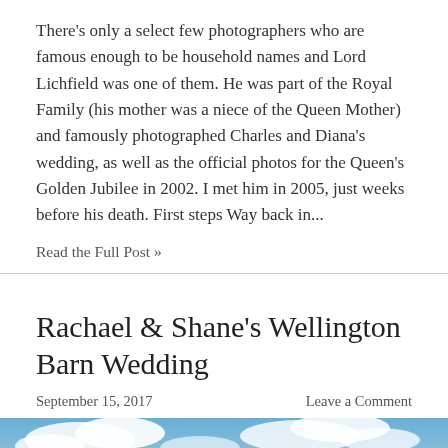There's only a select few photographers who are famous enough to be household names and Lord Lichfield was one of them. He was part of the Royal Family (his mother was a niece of the Queen Mother) and famously photographed Charles and Diana's wedding, as well as the official photos for the Queen's Golden Jubilee in 2002. I met him in 2005, just weeks before his death. First steps Way back in...
Read the Full Post »
Rachael & Shane's Wellington Barn Wedding
September 15, 2017
Leave a Comment
[Figure (photo): Outdoor wedding photo showing a couple kissing or embracing against a blue sky with clouds and green landscape in the background.]